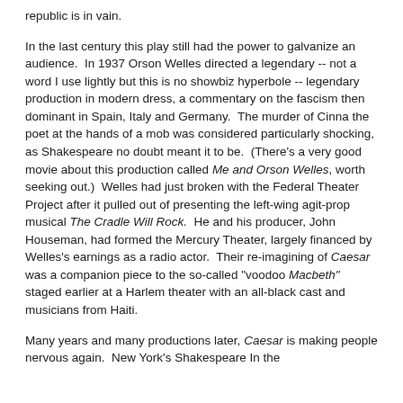republic is in vain.
In the last century this play still had the power to galvanize an audience.  In 1937 Orson Welles directed a legendary -- not a word I use lightly but this is no showbiz hyperbole -- legendary production in modern dress, a commentary on the fascism then dominant in Spain, Italy and Germany.  The murder of Cinna the poet at the hands of a mob was considered particularly shocking, as Shakespeare no doubt meant it to be.  (There's a very good movie about this production called Me and Orson Welles, worth seeking out.)  Welles had just broken with the Federal Theater Project after it pulled out of presenting the left-wing agit-prop musical The Cradle Will Rock.  He and his producer, John Houseman, had formed the Mercury Theater, largely financed by Welles's earnings as a radio actor.  Their re-imagining of Caesar was a companion piece to the so-called "voodoo Macbeth" staged earlier at a Harlem theater with an all-black cast and musicians from Haiti.
Many years and many productions later, Caesar is making people nervous again.  New York's Shakespeare In the